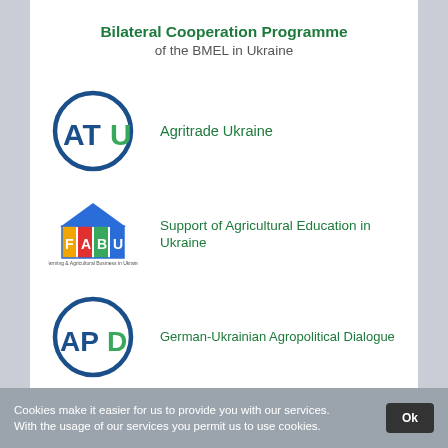Bilateral Cooperation Programme of the BMEL in Ukraine
[Figure (logo): ATU circle logo - Agritrade Ukraine]
Agritrade Ukraine
[Figure (logo): FABU logo - Farming and Agricultural Business in Ukraine]
Support of Agricultural Education in Ukraine
[Figure (logo): APD circle logo - Agropolitical Dialogue]
German-Ukrainian Agropolitical Dialogue
Cookies make it easier for us to provide you with our services. With the usage of our services you permit us to use cookies.